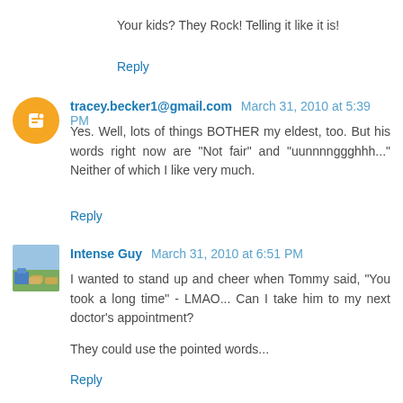Your kids? They Rock! Telling it like it is!
Reply
tracey.becker1@gmail.com March 31, 2010 at 5:39 PM
Yes. Well, lots of things BOTHER my eldest, too. But his words right now are "Not fair" and "uunnnnggghhh..." Neither of which I like very much.
Reply
Intense Guy March 31, 2010 at 6:51 PM
I wanted to stand up and cheer when Tommy said, "You took a long time" - LMAO... Can I take him to my next doctor's appointment?
They could use the pointed words...
Reply